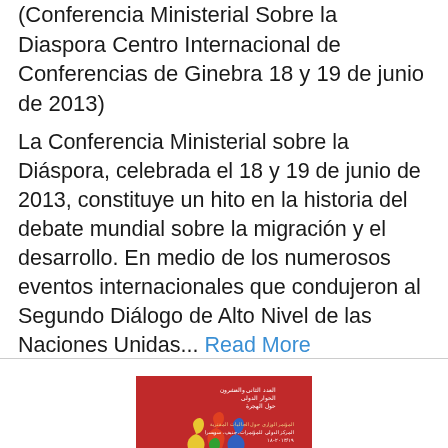(Conferencia Ministerial Sobre la Diaspora Centro Internacional de Conferencias de Ginebra 18 y 19 de junio de 2013)
La Conferencia Ministerial sobre la Diáspora, celebrada el 18 y 19 de junio de 2013, constituye un hito en la historia del debate mundial sobre la migración y el desarrollo. En medio de los numerosos eventos internacionales que condujeron al Segundo Diálogo de Alto Nivel de las Naciones Unidas... Read More
[Figure (illustration): Red book cover with Arabic text. Features a colorful logo/illustration of world map with figures. Arabic title text reads: الجاليات المقترية والتنمية: بناء جسور بين المجتمعات والدول]